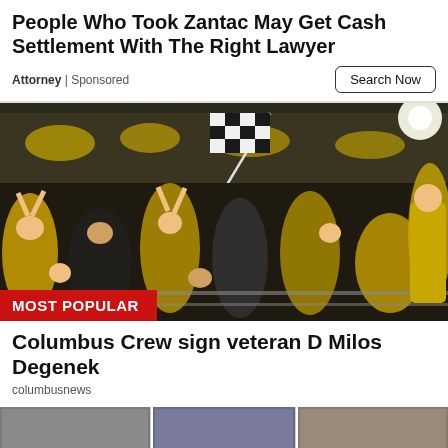People Who Took Zantac May Get Cash Settlement With The Right Lawyer
Attorney | Sponsored
Search Now
[Figure (photo): Large crowd of Columbus Crew soccer fans in yellow and black colors waving checkered flags in a stadium at night]
MOST POPULAR
Columbus Crew sign veteran D Milos Degenek
columbusnews
[Figure (photo): Bottom strip showing thumbnails of additional news articles]